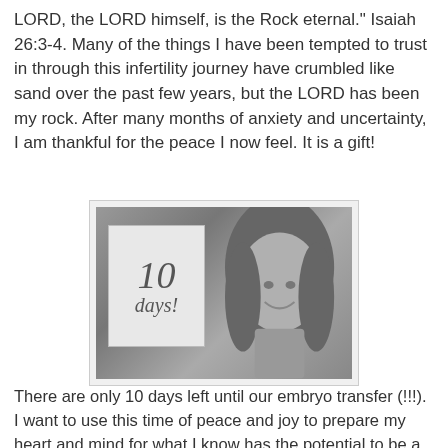LORD, the LORD himself, is the Rock eternal." Isaiah 26:3-4. Many of the things I have been tempted to trust in through this infertility journey have crumbled like sand over the past few years, but the LORD has been my rock. After many months of anxiety and uncertainty, I am thankful for the peace I now feel. It is a gift!
[Figure (photo): Black and white photo of a smiling woman holding up a handwritten sign that reads '10 days!']
There are only 10 days left until our embryo transfer (!!!). I want to use this time of peace and joy to prepare my heart and mind for what I know has the potential to be a very nerve-wracking "two week wait" until I go in for a pregnancy blood test. Months ago I was watching videos on youtube of couples who did IVF or embryo adoption; in one of the